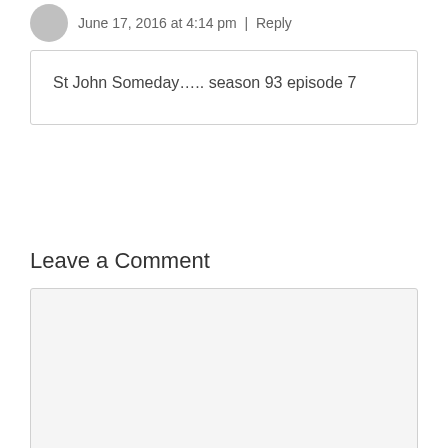June 17, 2016 at 4:14 pm | Reply
St John Someday….. season 93 episode 7
Leave a Comment